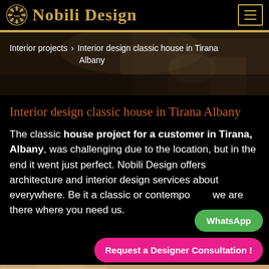Nobili Design
[Figure (screenshot): Interior room photo used as banner background with breadcrumb navigation showing 'Interior projects → Interior design classic house in Tirana Albany']
Interior design classic house in Tirana Albany
The classic house project for a customer in Tirana, Albany, was challenging due to the location, but in the end it went just perfect. Nobili Design offers architecture and interior design services about everywhere. Be it a classic or contemporary, we are there where you need us.
[Figure (other): WhatsApp button (green rounded pill)]
[Figure (other): Request a Designer Consultation! button (pink/magenta rounded pill)]
[Figure (photo): Bottom strip showing partial interior photo with beige/cream tones]